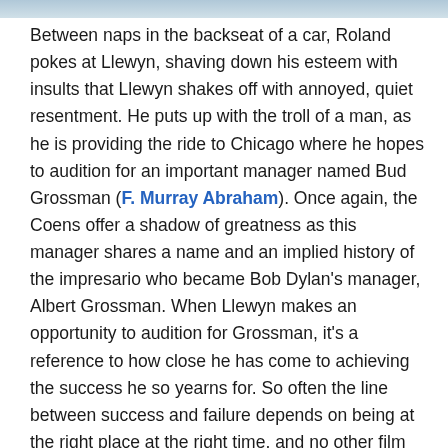[Figure (photo): Partial image strip at the top of the page, showing a blurred or cropped photograph.]
Between naps in the backseat of a car, Roland pokes at Llewyn, shaving down his esteem with insults that Llewyn shakes off with annoyed, quiet resentment. He puts up with the troll of a man, as he is providing the ride to Chicago where he hopes to audition for an important manager named Bud Grossman (F. Murray Abraham). Once again, the Coens offer a shadow of greatness as this manager shares a name and an implied history of the impresario who became Bob Dylan's manager, Albert Grossman. When Llewyn makes an opportunity to audition for Grossman, it's a reference to how close he has come to achieving the success he so yearns for. So often the line between success and failure depends on being at the right place at the right time, and no other film captures this with so much melancholy and depth.